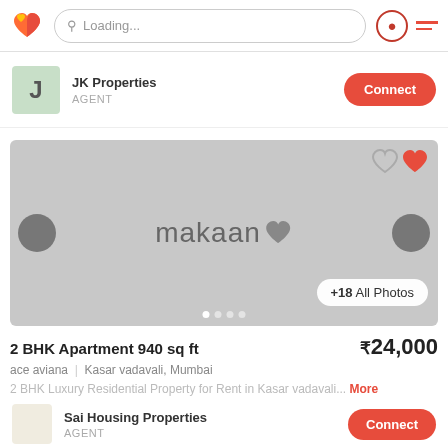Loading...
JK Properties
AGENT
[Figure (screenshot): Property listing image placeholder with makaan logo, navigation arrows, heart icons, dots pagination, and +18 All Photos button]
2 BHK Apartment 940 sq ft
ace aviana | Kasar vadavali, Mumbai
2 BHK Luxury Residential Property for Rent in Kasar vadavali... More
₹24,000
Sai Housing Properties
AGENT